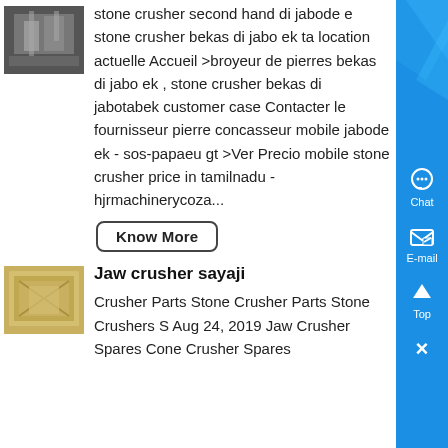[Figure (photo): Thumbnail image of industrial stone crusher machinery]
stone crusher second hand di jabode e stone crusher bekas di jabo ek ta location actuelle Accueil >broyeur de pierres bekas di jabo ek , stone crusher bekas di jabotabek customer case Contacter le fournisseur pierre concasseur mobile jabode ek - sos-papaeu gt >Ver Precio mobile stone crusher price in tamilnadu - hjrmachinerycoza...
Know More
[Figure (photo): Thumbnail image of jaw crusher sayaji machinery]
Jaw crusher sayaji
Crusher Parts Stone Crusher Parts Stone Crushers S Aug 24, 2019 Jaw Crusher Spares Cone Crusher Spares